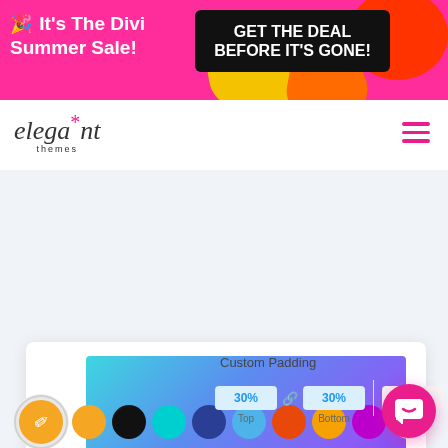[Figure (screenshot): Divi Summer Sale promotional banner with pink background, yellow/orange blobs, left text '🎉 It's The Divi Summer Sale!' and black CTA box 'GET THE DEAL BEFORE IT'S GONE!']
[Figure (logo): Elegant Themes logo with italic serif font and pink asterisk]
[Figure (screenshot): Divi builder interface showing a gradient rectangle (blue to purple) in a white card, a color palette row with pencil icon and color dots, and a Custom Padding control showing 30% Top, 30% Bottom, 20px Left values]
Custom Padding
30%
Top
30%
Bottom
20px
Left